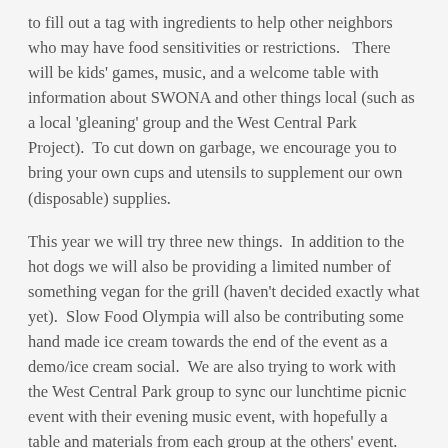to fill out a tag with ingredients to help other neighbors who may have food sensitivities or restrictions.   There will be kids' games, music, and a welcome table with information about SWONA and other things local (such as a local 'gleaning' group and the West Central Park Project).  To cut down on garbage, we encourage you to bring your own cups and utensils to supplement our own (disposable) supplies.
This year we will try three new things.  In addition to the hot dogs we will also be providing a limited number of something vegan for the grill (haven't decided exactly what yet).  Slow Food Olympia will also be contributing some hand made ice cream towards the end of the event as a demo/ice cream social.  We are also trying to work with the West Central Park group to sync our lunchtime picnic event with their evening music event, with hopefully a table and materials from each group at the others' event.  We hope to see you there.  If you are interested in helping out (either